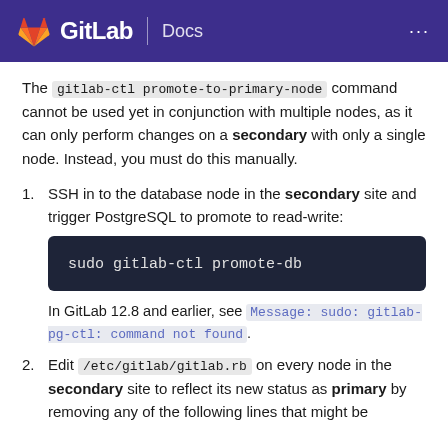GitLab Docs
The gitlab-ctl promote-to-primary-node command cannot be used yet in conjunction with multiple nodes, as it can only perform changes on a secondary with only a single node. Instead, you must do this manually.
1. SSH in to the database node in the secondary site and trigger PostgreSQL to promote to read-write:
sudo gitlab-ctl promote-db
In GitLab 12.8 and earlier, see Message: sudo: gitlab-pg-ctl: command not found.
2. Edit /etc/gitlab/gitlab.rb on every node in the secondary site to reflect its new status as primary by removing any of the following lines that might be